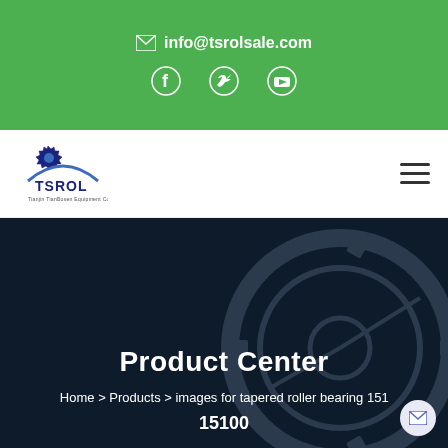info@tsrolsale.com
[Figure (logo): TSROL company logo with gear icon]
Product Center
Home > Products > images for tapered roller bearing 15100 15100